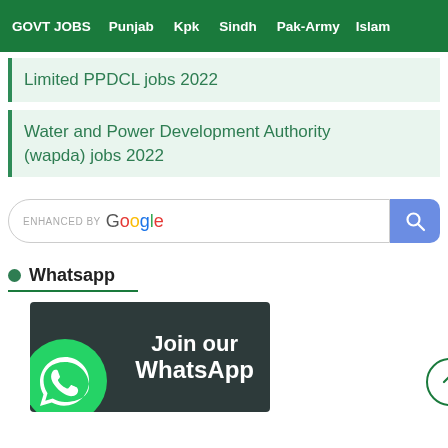GOVT JOBS | Punjab | Kpk | Sindh | Pak-Army | Islam
Limited PPDCL jobs 2022
Water and Power Development Authority (wapda) jobs 2022
[Figure (screenshot): Google custom search box with search button]
Whatsapp
[Figure (infographic): Join our WhatsApp group banner with WhatsApp logo icon]